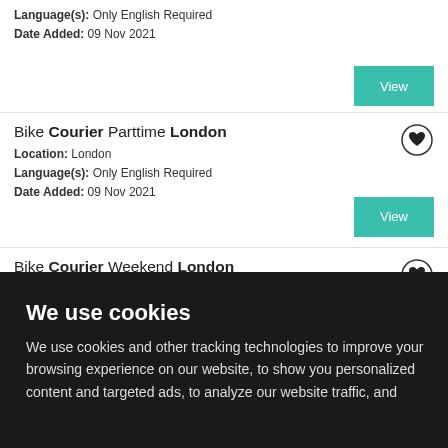Language(s): Only English Required
Date Added: 09 Nov 2021
Bike Courier Parttime London
Location: London
Language(s): Only English Required
Date Added: 09 Nov 2021
Bike Courier Weekend London
Location: Wembley , England
Language(s): Only English Required
Date Added: 09 Nov 2021
We use cookies
We use cookies and other tracking technologies to improve your browsing experience on our website, to show you personalized content and targeted ads, to analyze our website traffic, and